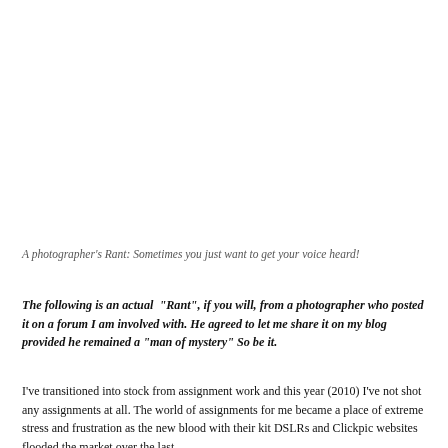A photographer's Rant: Sometimes you just want to get your voice heard!
The following is an actual "Rant", if you will, from a photographer who posted it on a forum I am involved with. He agreed to let me share it on my blog provided he remained a "man of mystery" So be it.
I've transitioned into stock from assignment work and this year (2010) I've not shot any assignments at all. The world of assignments for me became a place of extreme stress and frustration as the new blood with their kit DSLRs and Clickpic websites flooded the market over the last